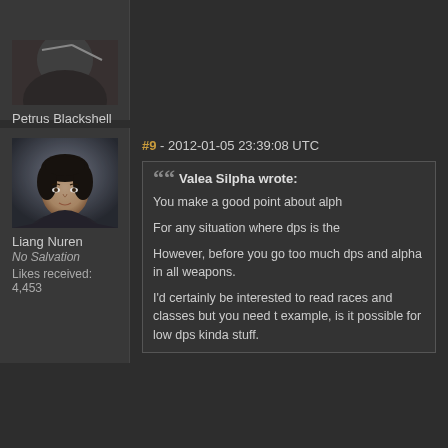[Figure (photo): Avatar image of Petrus Blackshell, partially visible dark character portrait]
Petrus Blackshell
Rifterlings
Likes received: 3,297
[Figure (photo): Avatar image of Liang Nuren, a 3D rendered female character with short dark hair]
Liang Nuren
No Salvation
Likes received: 4,453
#9 - 2012-01-05 23:39:08 UTC
Valea Silpha wrote:
You make a good point about alph

For any situation where dps is the

However, before you go too much dps and alpha in all weapons.

I'd certainly be interested to read races and classes but you need t example, is it possible for low dps kinda stuff.